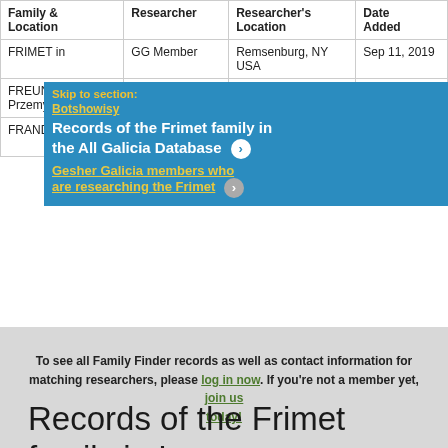| Family & Location | Researcher | Researcher's Location | Date Added |
| --- | --- | --- | --- |
| FRIMET in | GG Member | Remsenburg, NY USA | Sep 11, 2019 |
| FREUND in Przemyst, Poland | GG Member | New York, NY USA | Oct 30, 2010 |
| FRAND in | GG Member | New York, NY USA | Jan 24, 2002 |
[Figure (screenshot): Navigation dropdown overlay on blue background showing: 'Skip to section:' label in yellow, then link 'Botshowisy', then title 'Records of the Frimet family in the All Galicia Database' with a white arrow button, then link 'Gesher Galicia members who are researching the Frimet' with a gray arrow button]
To see all Family Finder records as well as contact information for matching researchers, please log in now. If you're not a member yet, join us today!
Records of the Frimet family in Logan Kleinwaks' Genealogy Indexer website